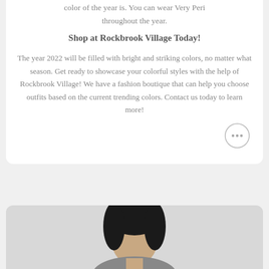color of the year is. You can wear Very Peri throughout the year.
Shop at Rockbrook Village Today!
The year 2022 will be filled with bright and striking colors, no matter what season. Get ready to showcase your colorful styles with the help of Rockbrook Village! We have a fashion boutique that can help you choose outfits based on the current trending colors. Contact us today to learn more!
[Figure (photo): Photo of a person with dark hair, partially visible at the bottom of the page]